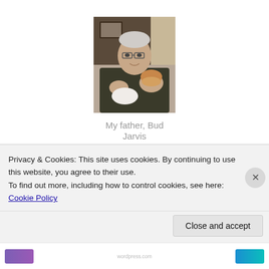[Figure (photo): An elderly man holding a hamburger or sandwich, sitting at what appears to be a restaurant. He is wearing a dark sweater and glasses.]
My father, Bud Jarvis
The next heart-wrenching death I experienced was very different, but still painful. Last year my beloved dog
Privacy & Cookies: This site uses cookies. By continuing to use this website, you agree to their use.
To find out more, including how to control cookies, see here: Cookie Policy
Close and accept